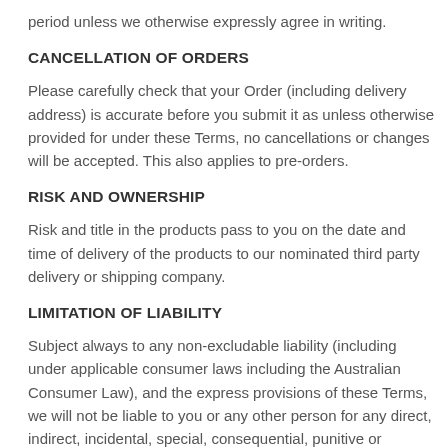period unless we otherwise expressly agree in writing.
CANCELLATION OF ORDERS
Please carefully check that your Order (including delivery address) is accurate before you submit it as unless otherwise provided for under these Terms, no cancellations or changes will be accepted. This also applies to pre-orders.
RISK AND OWNERSHIP
Risk and title in the products pass to you on the date and time of delivery of the products to our nominated third party delivery or shipping company.
LIMITATION OF LIABILITY
Subject always to any non-excludable liability (including under applicable consumer laws including the Australian Consumer Law), and the express provisions of these Terms, we will not be liable to you or any other person for any direct, indirect, incidental, special, consequential, punitive or exemplary